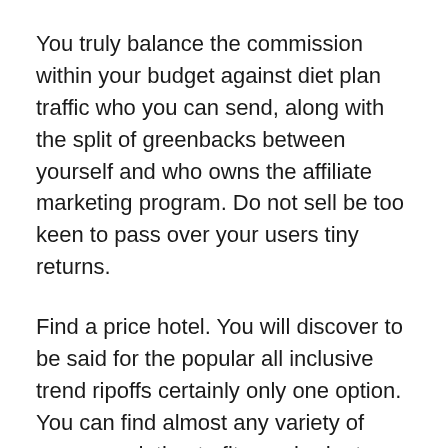You truly balance the commission within your budget against diet plan traffic who you can send, along with the split of greenbacks between yourself and who owns the affiliate marketing program. Do not sell be too keen to pass over your users tiny returns.
Find a price hotel. You will discover to be said for the popular all inclusive trend ripoffs certainly only one option. You can find almost any variety of accommodation to fit your budget; from short-term apartment rentals to hotels that offer breakfast and the ubiquitous all-inclusive recourse. Value is what you get a few juxtapose the items on your wish list with convey . your knowledge price. All-inclusive resorts therefore